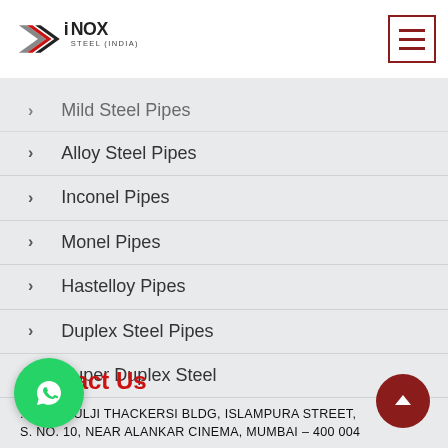[Figure (logo): iNOX Steel India logo with angular geometric chevron/arrow shape in red, black, and grey, followed by bold text 'iNOX' and smaller text 'STEEL (INDIA)']
Mild Steel Pipes
Alloy Steel Pipes
Inconel Pipes
Monel Pipes
Hastelloy Pipes
Duplex Steel Pipes
Super Duplex Steel
Blog
Contact Us
52-A, MULJI THACKERSI BLDG, ISLAMPURA STREET, S. NO. 10, NEAR ALANKAR CINEMA, MUMBAI – 400 004